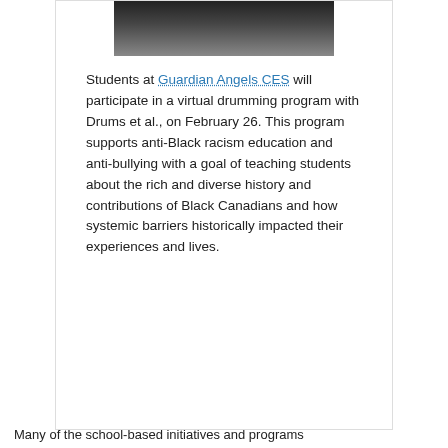[Figure (photo): Partial view of a person wearing a dark hat or cap, shown from approximately chin to top of head, dark/monochromatic image]
Students at Guardian Angels CES will participate in a virtual drumming program with Drums et al., on February 26. This program supports anti-Black racism education and anti-bullying with a goal of teaching students about the rich and diverse history and contributions of Black Canadians and how systemic barriers historically impacted their experiences and lives.
Many of the school-based initiatives and programs